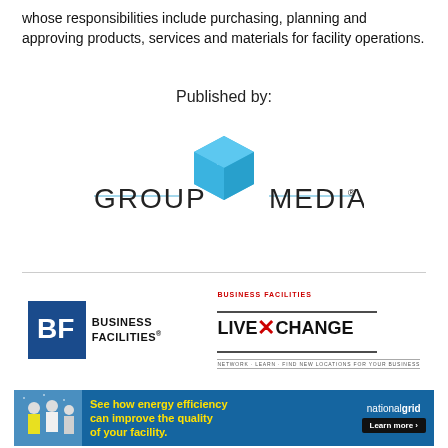whose responsibilities include purchasing, planning and approving products, services and materials for facility operations.
Published by:
[Figure (logo): Group C Media logo with blue hexagon C icon and text GROUP C MEDIA with registered trademark symbol]
[Figure (logo): Business Facilities logo with blue BF box and text BUSINESS FACILITIES]
[Figure (logo): Business Facilities LiveXChange logo with red X and tagline NETWORK · LEARN · FIND NEW LOCATIONS FOR YOUR BUSINESS]
[Figure (logo): Facility Executive logo with red background and text FACILITY EXECUTIVE. Creating Intelligent Buildings]
[Figure (logo): Turf logo in bold italic with X trademark badge]
[Figure (infographic): National Grid advertisement: See how energy efficiency can improve the quality of your facility. Learn more button. Shows workers in safety vests.]